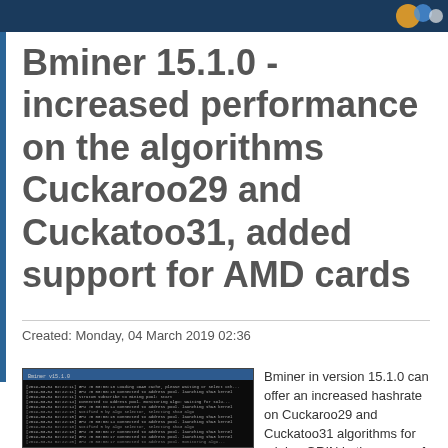Bminer 15.1.0 - increased performance on the algorithms Cuckaroo29 and Cuckatoo31, added support for AMD cards
Created: Monday, 04 March 2019 02:36
[Figure (screenshot): Screenshot of Bminer mining software command line interface running in a dark terminal window]
Bminer in version 15.1.0 can offer an increased hashrate on Cuckaroo29 and Cuckatoo31 algorithms for mining GRIN in the range of 2-5%. Also in this